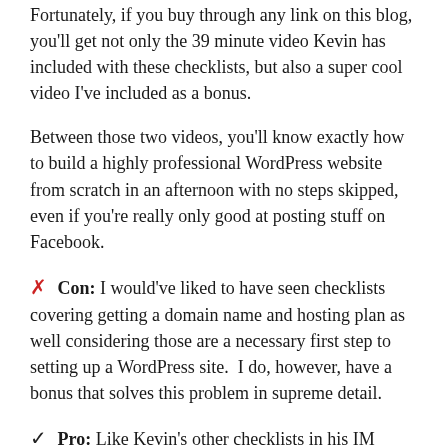Fortunately, if you buy through any link on this blog, you'll get not only the 39 minute video Kevin has included with these checklists, but also a super cool video I've included as a bonus.
Between those two videos, you'll know exactly how to build a highly professional WordPress website from scratch in an afternoon with no steps skipped, even if you're really only good at posting stuff on Facebook.
✗ Con:  I would've liked to have seen checklists covering getting a domain name and hosting plan as well considering those are a necessary first step to setting up a WordPress site.  I do, however, have a bonus that solves this problem in supreme detail.
✓ Pro:  Like Kevin's other checklists in his IM Checklist series, not only is this overall package packed full of value,